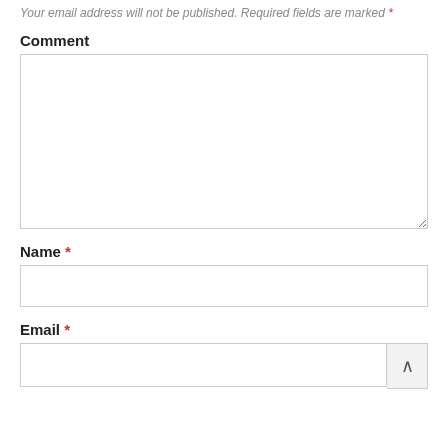Your email address will not be published. Required fields are marked *
Comment
[comment textarea]
Name *
[name input]
Email *
[email input]